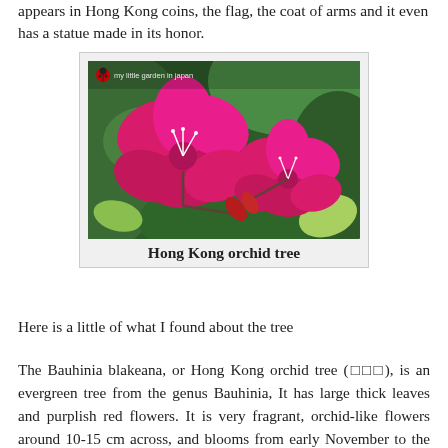appears in Hong Kong coins, the flag, the coat of arms and it even has a statue made in its honor.
[Figure (photo): Close-up photograph of magenta/purplish-red Hong Kong orchid tree (Bauhinia blakeana) flowers with green foliage in background. Watermark reads 'my little garden in japan' with ladybug icon.]
Hong Kong orchid tree
Here is a little of what I found about the tree
The Bauhinia blakeana, or Hong Kong orchid tree (□□□), is an evergreen tree from the genus Bauhinia, It has large thick leaves and purplish red flowers. It is very fragrant, orchid-like flowers around 10-15 cm across, and blooms from early November to the end of March. It is sterile (does not produce seed), and is a hybrid between Bauhinia variegata and Bauhinia purpurea. The tree